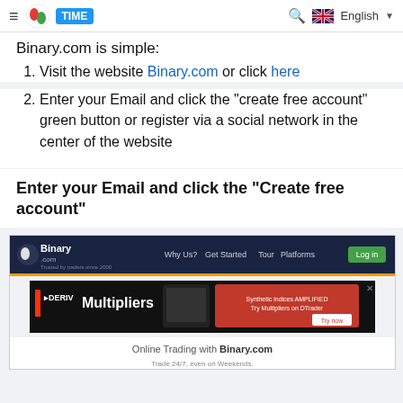≡ [logo] TIME | [search] [UK flag] English ▼
Binary.com is simple:
Visit the website Binary.com or click here
Enter your Email and click the "create free account" green button or register via a social network in the center of the website
Enter your Email and click the "Create free account"
[Figure (screenshot): Screenshot of Binary.com website showing navigation bar with Why Us?, Get Started, Tour, Platforms links and Log in button, plus a DERIV Multipliers advertisement banner, and the text 'Online Trading with Binary.com' and 'Trade 24/7, even on Weekends.']